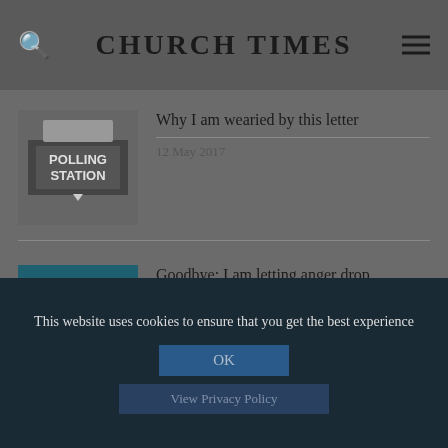CHURCH TIMES
[Figure (photo): Polling station sign photo thumbnail]
Why I am wearied by this letter
12 May 2017
[Figure (logo): Church Times logo thumbnail on teal background]
Goodbye: I am letting anger drop
08 Feb 2013
This website uses cookies to ensure that you get the best experience
OK
View Privacy Policy